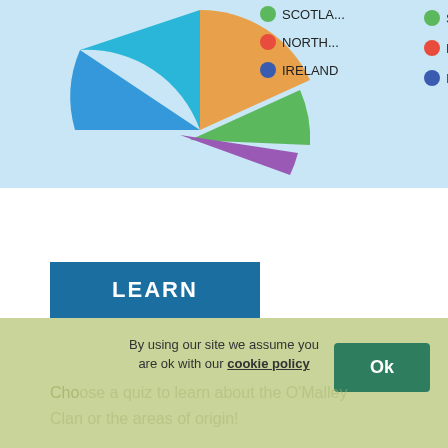[Figure (pie-chart): Partial pie chart visible at top-left with legend entries: SCOTLA..., NORTH..., IRELAND]
[Figure (other): Blue button labeled LEARN]
Learn about O'Malley through our quizzes
By using our site we assume you are ok with our cookie policy
Choose a quiz to learn about the O'Malley Clan or the areas of origin!